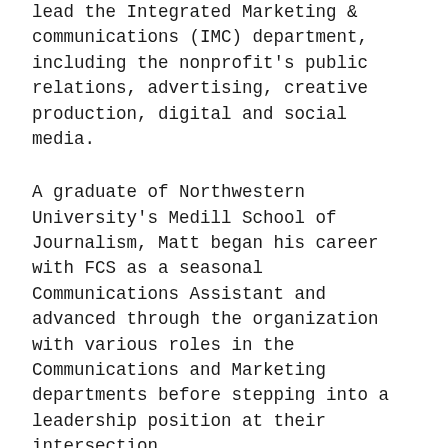lead the Integrated Marketing & communications (IMC) department, including the nonprofit's public relations, advertising, creative production, digital and social media.
A graduate of Northwestern University's Medill School of Journalism, Matt began his career with FCS as a seasonal Communications Assistant and advanced through the organization with various roles in the Communications and Marketing departments before stepping into a leadership position at their intersection.
Joe Andrade – Senior Vice President of Membership & Ticket Sales
Joe joined Florida Citrus Sports in 2019 and